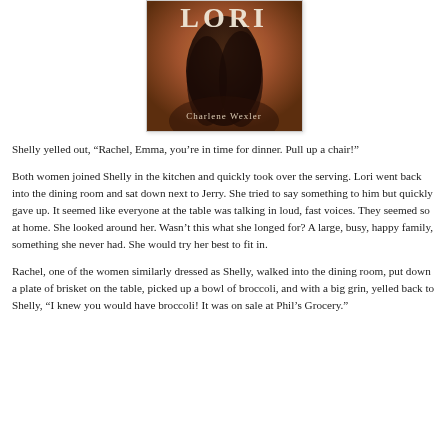[Figure (illustration): Book cover for 'LORI' by Charlene Wexler. Shows a figure with dark hair against a warm brown/copper background. The title 'LORI' appears in large serif letters at the top and 'Charlene Wexler' is printed at the bottom of the cover.]
Shelly yelled out, “Rachel, Emma, you’re in time for dinner. Pull up a chair!”
Both women joined Shelly in the kitchen and quickly took over the serving. Lori went back into the dining room and sat down next to Jerry. She tried to say something to him but quickly gave up. It seemed like everyone at the table was talking in loud, fast voices. They seemed so at home. She looked around her. Wasn’t this what she longed for? A large, busy, happy family, something she never had. She would try her best to fit in.
Rachel, one of the women similarly dressed as Shelly, walked into the dining room, put down a plate of brisket on the table, picked up a bowl of broccoli, and with a big grin, yelled back to Shelly, “I knew you would have broccoli! It was on sale at Phil’s Grocery.”